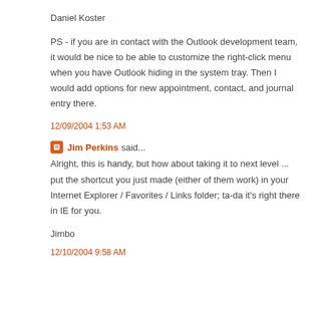Daniel Koster
PS - if you are in contact with the Outlook development team, it would be nice to be able to customize the right-click menu when you have Outlook hiding in the system tray. Then I would add options for new appointment, contact, and journal entry there.
12/09/2004 1:53 AM
Jim Perkins said...
Alright, this is handy, but how about taking it to next level ... put the shortcut you just made (either of them work) in your Internet Explorer / Favorites / Links folder; ta-da it's right there in IE for you.
Jimbo
12/10/2004 9:58 AM